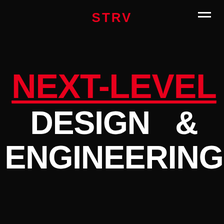STRV
NEXT-LEVEL DESIGN & ENGINEERING